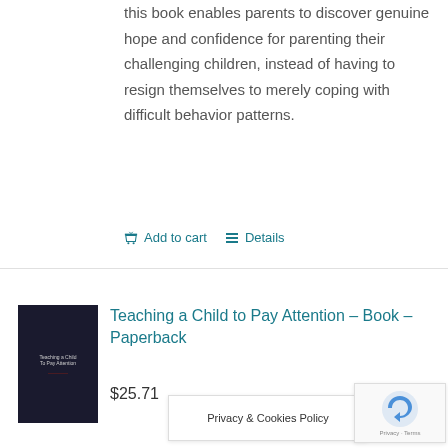this book enables parents to discover genuine hope and confidence for parenting their challenging children, instead of having to resign themselves to merely coping with difficult behavior patterns.
Add to cart   Details
[Figure (photo): Book cover for Teaching a Child to Pay Attention - dark background with title text]
Teaching a Child to Pay Attention – Book – Paperback
$25.71
Privacy & Cookies Policy